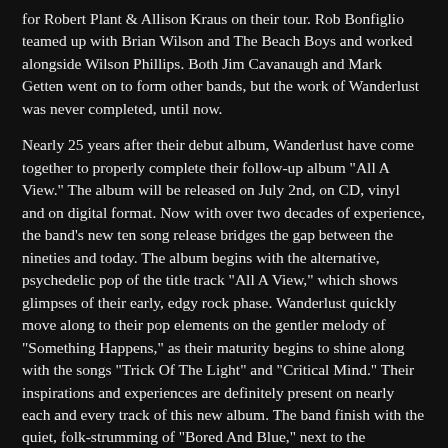for Robert Plant & Allison Kraus on their tour. Rob Bonfiglio teamed up with Brian Wilson and The Beach Boys and worked alongside Wilson Phillips. Both Jim Cavanaugh and Mark Getten went on to form other bands, but the work of Wanderlust was never completed, until now.
Nearly 25 years after their debut album, Wanderlust have come together to properly complete their follow-up album "All A View." The album will be released on July 2nd, on CD, vinyl and on digital format. Now with over two decades of experience, the band's new ten song release bridges the gap between the nineties and today. The album begins with the alternative, psychedelic pop of the title track "All A View," which shows glimpses of their early, edgy rock phase. Wanderlust quickly move along to their pop elements on the gentler melody of "Something Happens," as their maturity begins to shine along with the songs "Trick Of The Light" and "Critical Mind." Their inspirations and experiences are definitely present on nearly each and every track of this new album. The band finish with the quiet, folk-strumming of "Bored And Blue," next to the undeniably addictive delivery of "Inspiration." To find out more about Wanderlust and their latest release "All A View," please visit facebook.com/wanderlustfans.